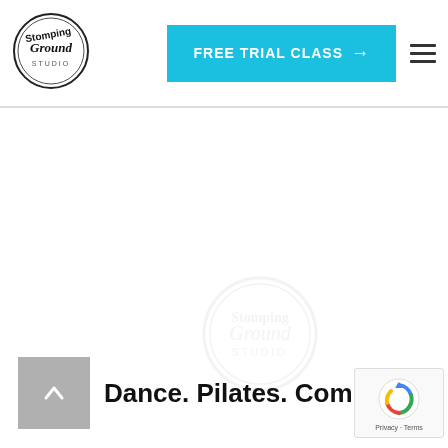[Figure (logo): Stomping Ground logo — circular badge with stylized handwritten text]
[Figure (other): Cyan/turquoise button with white bold text 'FREE TRIAL CLASS →']
[Figure (other): Hamburger menu icon (three horizontal lines)]
[Figure (other): Gray back-to-top button with upward caret arrow]
Dance. Pilates. Community.
[Figure (other): Faint watermark circle logo in background]
[Figure (other): reCAPTCHA badge showing Google reCAPTCHA logo and 'Privacy · Terms' text]